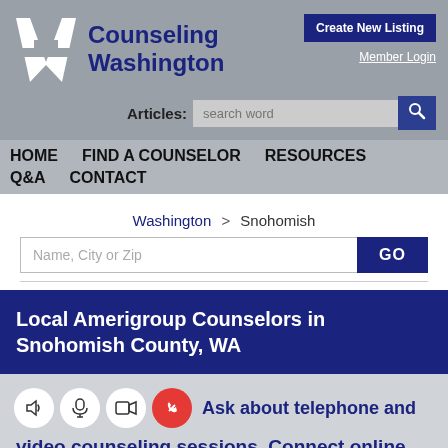[Figure (logo): Counseling Washington logo with stylized W/H letter mark]
Counseling Washington
Create New Listing
Member Login
Articles: search word
HOME   FIND A COUNSELOR   RESOURCES   Q&A   CONTACT
Washington > Snohomish
Name, City or Zip
Local Amerigroup Counselors in Snohomish County, WA
Ask about telephone and video counseling sessions. Connect online now.